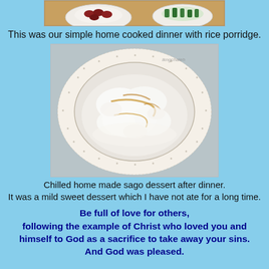[Figure (photo): Top portion of a photo showing bowls of food on a wooden table — partially cropped at the top]
This was our simple home cooked dinner with rice porridge.
[Figure (photo): A bowl of chilled home made sago dessert on a decorative plate, showing white translucent sago pearls with brown sugar syrup. Watermark reads 'ikngchaleh'.]
Chilled home made sago dessert after dinner.
It was a mild sweet dessert which I have not ate for a long time.
Be full of love for others,
following the example of Christ who loved you and himself to God as a sacrifice to take away your sins.
And God was pleased.